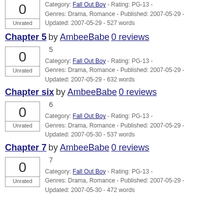Category: Fall Out Boy - Rating: PG-13 - Genres: Drama, Romance - Published: 2007-05-29 - Updated: 2007-05-29 - 527 words
Chapter 5 by AmbeeBabe 0 reviews
5
Category: Fall Out Boy - Rating: PG-13 - Genres: Drama, Romance - Published: 2007-05-29 - Updated: 2007-05-29 - 632 words
Chapter six by AmbeeBabe 0 reviews
6
Category: Fall Out Boy - Rating: PG-13 - Genres: Drama, Romance - Published: 2007-05-29 - Updated: 2007-05-30 - 537 words
Chapter 7 by AmbeeBabe 0 reviews
7
Category: Fall Out Boy - Rating: PG-13 - Genres: Drama, Romance - Published: 2007-05-29 - Updated: 2007-05-30 - 472 words